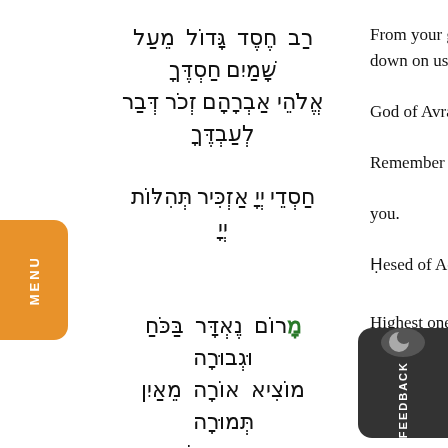רַב חֶסֶד גָּדוֹל מֵעַל שָׁמַיִם חַסְדֶּךָ אֱלֹהֵי אַבְרָהָם זְכֹר דְּבַר לְעַבְדֶּךָ חַסְדֵי יְיָ אַזְכִּיר תְּהִלּוֹת יְיָ
From your great... down on us. God of Avraham... Remember us y... you. Hesed of Adona...
מָרוֹם נֶאְדָּר בַּכֹּחַ וּגְבוּרָה מוֹצִיא אוֹרָה מֵאַיִן תְּמוּרָה פַּחַד יִצְחָק מִשְׁפָּטֵנוּ
Highest one, ad... Drawing down b... "Fear of Yi... O so... unceasing